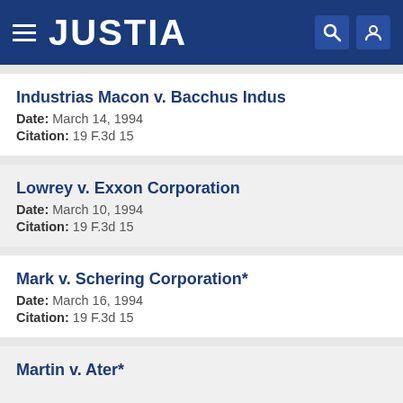JUSTIA
Industrias Macon v. Bacchus Indus
Date: March 14, 1994
Citation: 19 F.3d 15
Lowrey v. Exxon Corporation
Date: March 10, 1994
Citation: 19 F.3d 15
Mark v. Schering Corporation*
Date: March 16, 1994
Citation: 19 F.3d 15
Martin v. Ater*